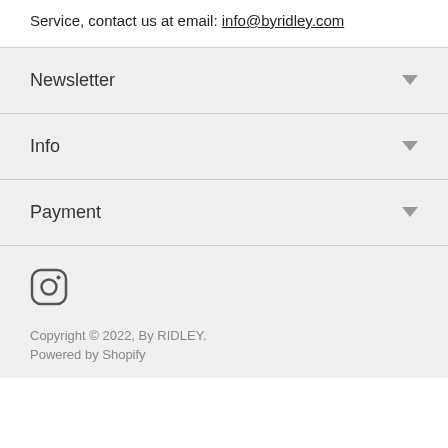Service, contact us at email: info@byridley.com
Newsletter
Info
Payment
[Figure (logo): Instagram logo icon]
Copyright © 2022, By RIDLEY. Powered by Shopify